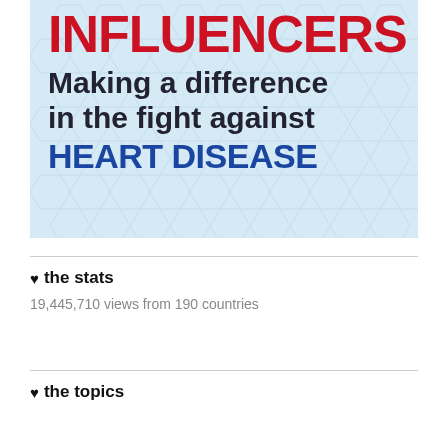[Figure (infographic): Banner image with light blue hexagonal pattern background. Large bold red text 'INFLUENCERS' at top, followed by dark bold text 'Making a difference in the fight against', then large bold blue text 'HEART DISEASE'.]
♥ the stats
19,445,710 views from 190 countries
♥ the topics